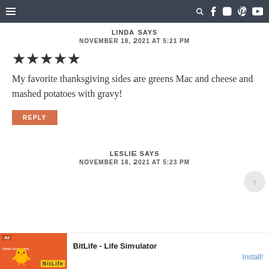Navigation bar with hamburger menu and social icons
LINDA SAYS
NOVEMBER 18, 2021 AT 5:21 PM
[Figure (other): Five filled star rating icons]
My favorite thanksgiving sides are greens Mac and cheese and mashed potatoes with gravy!
REPLY
LESLIE SAYS
NOVEMBER 18, 2021 AT 5:23 PM
[Figure (other): BitLife Life Simulator advertisement banner]